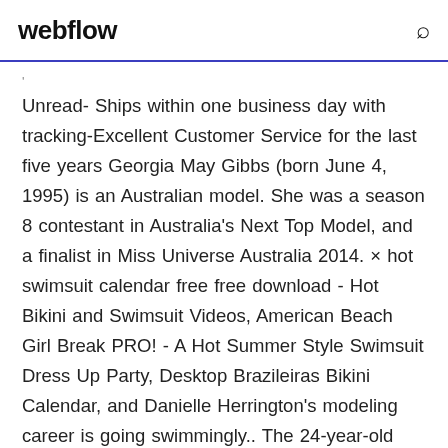webflow
Unread- Ships within one business day with tracking-Excellent Customer Service for the last five years Georgia May Gibbs (born June 4, 1995) is an Australian model. She was a season 8 contestant in Australia's Next Top Model, and a finalist in Miss Universe Australia 2014. × hot swimsuit calendar free free download - Hot Bikini and Swimsuit Videos, American Beach Girl Break PRO! - A Hot Summer Style Swimsuit Dress Up Party, Desktop Brazileiras Bikini Calendar, and Danielle Herrington's modeling career is going swimmingly.. The 24-year-old model from Compton, Calif., graces the cover of the 2018 Sports Illustrated Swimsuit